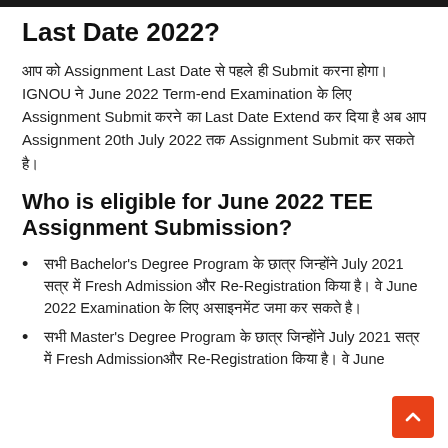Last Date 2022?
आप को Assignment Last Date से पहले ही Submit करना होगा। IGNOU ने June 2022 Term-end Examination के लिए Assignment Submit करने का Last Date Extend कर दिया है अब आप Assignment 20th July 2022 तक Assignment Submit कर सकते है।
Who is eligible for June 2022 TEE Assignment Submission?
सभी Bachelor's Degree Program के छात्र जिन्होंने July 2021 सत्र में Fresh Admission और Re-Registration किया है। वे June 2022 Examination के लिए असाइनमेंट जमा कर सकते है।
सभी Master's Degree Program के छात्र जिन्होंने July 2021 सत्र में Fresh Admissionऔर Re-Registration किया है। वे June